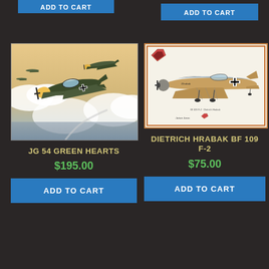[Figure (screenshot): Partial 'ADD TO CART' button at top left (cropped from previous product)]
[Figure (screenshot): Partial 'ADD TO CART' button at top right (cropped from previous product)]
[Figure (illustration): JG 54 Green Hearts - painting of WWII German Bf 109 aircraft in flight through clouds]
JG 54 GREEN HEARTS
$195.00
[Figure (illustration): Dietrich Hrabak BF 109 F-2 - technical side-view illustration of WWII German aircraft]
DIETRICH HRABAK BF 109 F-2
$75.00